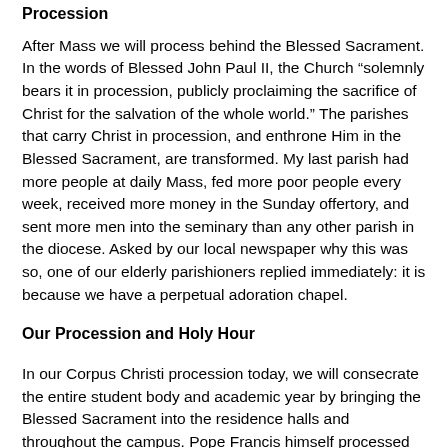Procession
After Mass we will process behind the Blessed Sacrament. In the words of Blessed John Paul II, the Church “solemnly bears it in procession, publicly proclaiming the sacrifice of Christ for the salvation of the whole world.” The parishes that carry Christ in procession, and enthrone Him in the Blessed Sacrament, are transformed. My last parish had more people at daily Mass, fed more poor people every week, received more money in the Sunday offertory, and sent more men into the seminary than any other parish in the diocese. Asked by our local newspaper why this was so, one of our elderly parishioners replied immediately: it is because we have a perpetual adoration chapel.
Our Procession and Holy Hour
In our Corpus Christi procession today, we will consecrate the entire student body and academic year by bringing the Blessed Sacrament into the residence halls and throughout the campus. Pope Francis himself processed with the Sacrament through the city of Rome on Thursday, and today has just completed a Eucharistic Holy Hour (5-